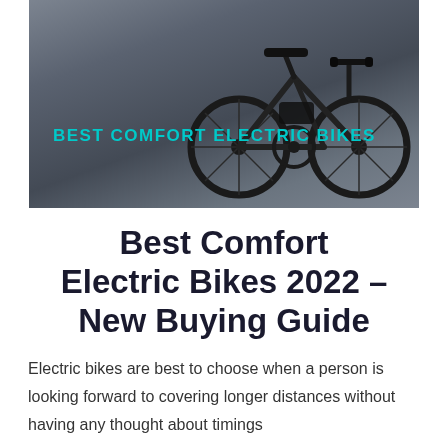[Figure (photo): Hero image of a dark electric bicycle parked against a gray concrete wall, with teal text overlay reading BEST COMFORT ELECTRIC BIKES]
Best Comfort Electric Bikes 2022 – New Buying Guide
Electric bikes are best to choose when a person is looking forward to covering longer distances without having any thought about timings